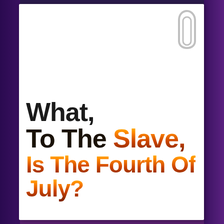[Figure (illustration): Book or document cover page with white card on purple/dark gradient background, a paper clip in the upper right corner of the white area, and large bold text reading 'What, To The Slave, Is The Fourth Of July?' with fire/flame texture on portions of the text]
What, To The Slave, Is The Fourth Of July?